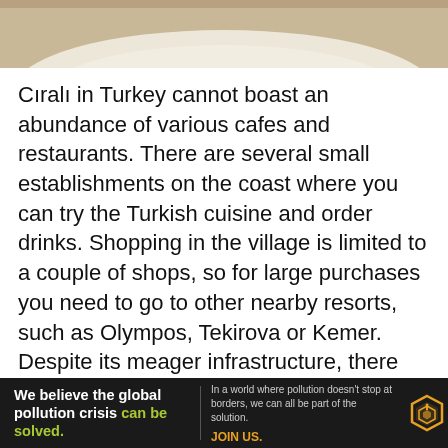[Figure (photo): Partial photo of a plate with food, showing light-colored food item (possibly flatbread or crepe) against a white plate, cropped at top]
Cıralı in Turkey cannot boast an abundance of various cafes and restaurants. There are several small establishments on the coast where you can try the Turkish cuisine and order drinks. Shopping in the village is limited to a couple of shops, so for large purchases you need to go to other nearby resorts, such as Olympos, Tekirova or Kemer. Despite its meager infrastructure, there are car rental offices in цраіralı.
Beach
[Figure (infographic): Advertisement banner for Pure Earth: black background with text 'We believe the global pollution crisis can be solved.' and 'In a world where pollution doesn't stop at borders, we can all be part of the solution. JOIN US.' with Pure Earth logo (orange/yellow diamond warning symbol) on right]